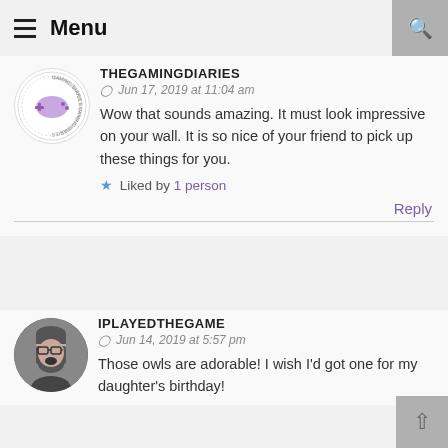Menu
THEGAMINGDIARIES
Jun 17, 2019 at 11:04 am
Wow that sounds amazing. It must look impressive on your wall. It is so nice of your friend to pick up these things for you.
Liked by 1 person
Reply
IPLAYEDTHEGAME
Jun 14, 2019 at 5:57 pm
Those owls are adorable! I wish I'd got one for my daughter's birthday!